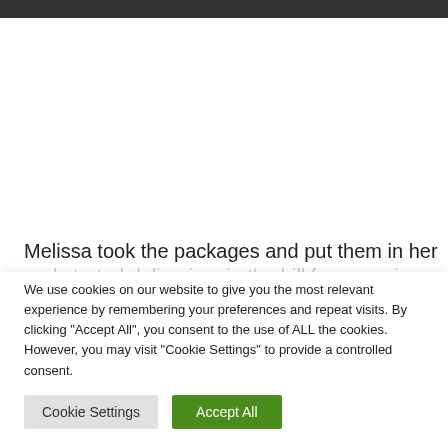Melissa took the packages and put them in her car
We use cookies on our website to give you the most relevant experience by remembering your preferences and repeat visits. By clicking "Accept All", you consent to the use of ALL the cookies. However, you may visit "Cookie Settings" to provide a controlled consent.